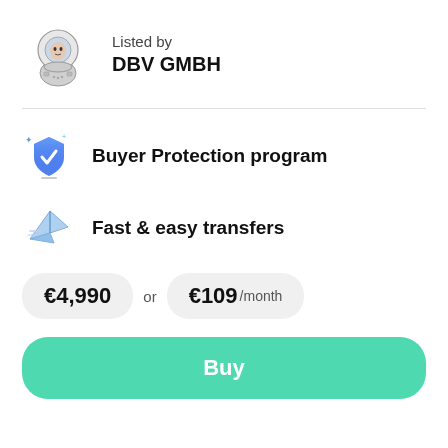[Figure (illustration): Astronaut character illustration in black and white, helmet visible, used as company/seller avatar]
Listed by
DBV GMBH
[Figure (illustration): Blue shield icon with checkmark and sparkle stars — Buyer Protection program icon]
Buyer Protection program
[Figure (illustration): Paper airplane icon in blue/white gradient — Fast & easy transfers icon]
Fast & easy transfers
€4,990  or  €109 /month
Buy